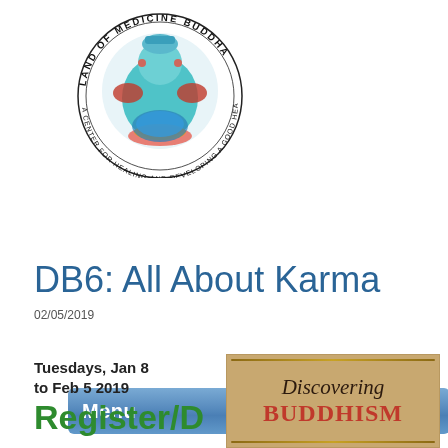[Figure (logo): Land of Medicine Buddha circular logo with deity image in center and text 'LAND OF MEDICINE BUDDHA - A CENTER FOR HEALING AND DEVELOPING A GOOD HEART' around the border]
Menu
DB6: All About Karma
02/05/2019
Tuesdays, Jan 8 to Feb 5 2019
Register/D
[Figure (illustration): Book cover for 'Discovering Buddhism' with golden/tan background and decorative border]